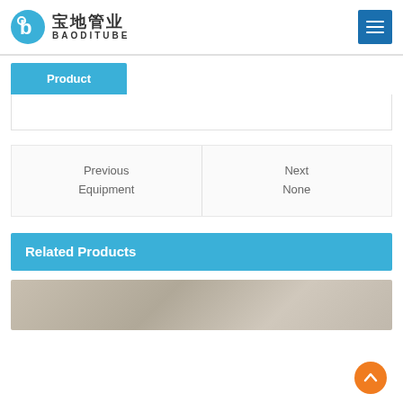宝地管业 BAODITUBE
Product
Previous Equipment
Next None
Related Products
[Figure (photo): Partial view of a product (stone/pipe material surface texture), gray-beige color]